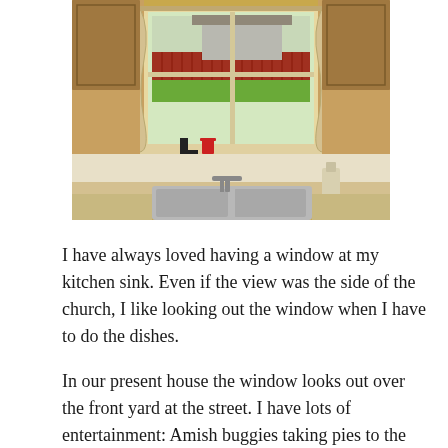[Figure (photo): Interior kitchen photo showing a double sink with a faucet in the foreground, and a window above the sink looking out to a backyard with a red fence and green lawn. Yellow walls, curtains on the sides of the window, some items on the windowsill including a red cup and a black letter L.]
I have always loved having a window at my kitchen sink. Even if the view was the side of the church, I like looking out the window when I have to do the dishes.
In our present house the window looks out over the front yard at the street. I have lots of entertainment: Amish buggies taking pies to the nearby restaurant; groups of moms out with strollers and adult conversation; gangs of